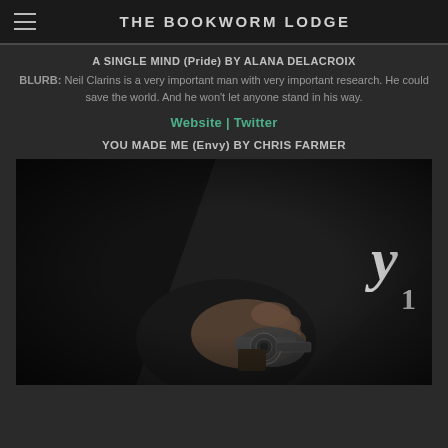THE BOOKWORM LODGE
A SINGLE MIND (Pride) BY ALANA DELACROIX
BLURB: Neil Clarins is a very important man with very important research. He could save the world. And he won't let anyone stand in his way.
Website | Twitter
YOU MADE ME (Envy) BY CHRIS FARMER
[Figure (photo): Dark moody photo of a hand holding a revolver, book cover for 'You Made Me' with stylized 'y' script text visible in top right corner]